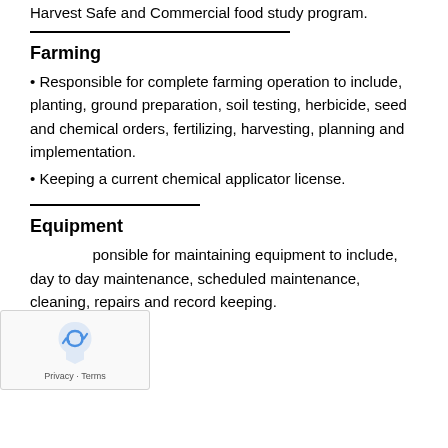Harvest Safe and Commercial food study program.
Farming
• Responsible for complete farming operation to include, planting, ground preparation, soil testing, herbicide, seed and chemical orders, fertilizing, harvesting, planning and implementation.
• Keeping a current chemical applicator license.
Equipment
• Responsible for maintaining equipment to include, day to day maintenance, scheduled maintenance, cleaning, repairs and record keeping.